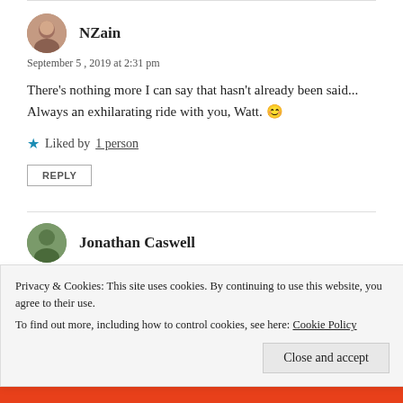NZain
September 5, 2019 at 2:31 pm
There's nothing more I can say that hasn't already been said... Always an exhilarating ride with you, Watt. 😊
★ Liked by 1 person
REPLY
Jonathan Caswell
Privacy & Cookies: This site uses cookies. By continuing to use this website, you agree to their use.
To find out more, including how to control cookies, see here: Cookie Policy
Close and accept